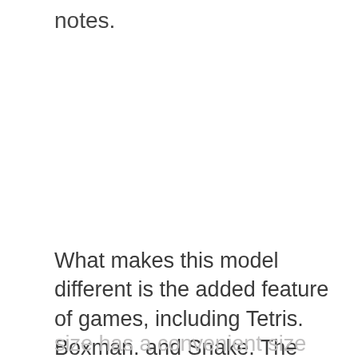notes.
What makes this model different is the added feature of games, including Tetris. Boxman. and Snake. The display
size has a convenient size so children